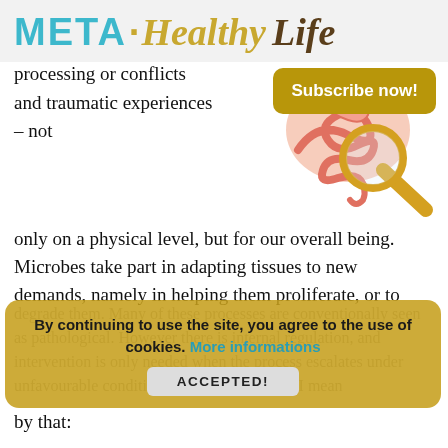META·Healthy Life
Subscribe now!
[Figure (illustration): Cartoon illustration of human digestive/intestinal organs with a magnifying glass]
processing or conflicts and traumatic experiences – not only on a physical level, but for our overall being. Microbes take part in adapting tissues to new demands, namely in helping them proliferate, or to
degrade them. Many of these processes are conventionally seen as pathological. However there is internal regulation, and intervention is only needed when the process escalates under unfavourable conditions. Let's explore what I mean by that:
By continuing to use the site, you agree to the use of cookies. More informations
ACCEPTED!